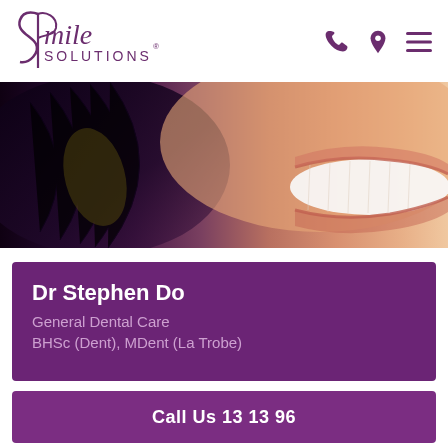[Figure (logo): Smile Solutions logo with stylized S and musical note, purple cursive text 'Smile' above sans-serif 'SOLUTIONS']
[Figure (photo): Close-up hero image of a person smiling with bright white teeth, dark background on left fading to warm skin tones on right]
Dr Stephen Do
General Dental Care
BHSc (Dent), MDent (La Trobe)
Call Us 13 13 96